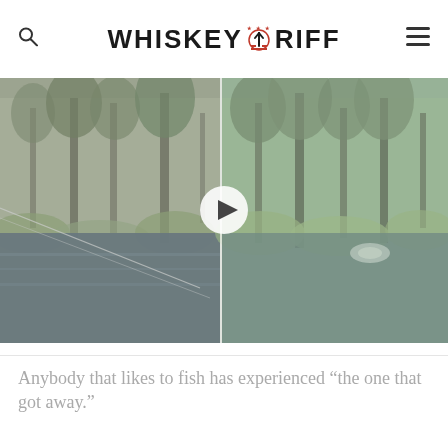WHISKEYRIFF
[Figure (screenshot): Split-screen video thumbnail showing a river and forest scene. Left panel shows a fishing line over a dark river with foggy forest background. Right panel shows the same river with a fish or splash visible. A play button overlay is centered between the two panels.]
Anybody that likes to fish has experienced "the one that got away."